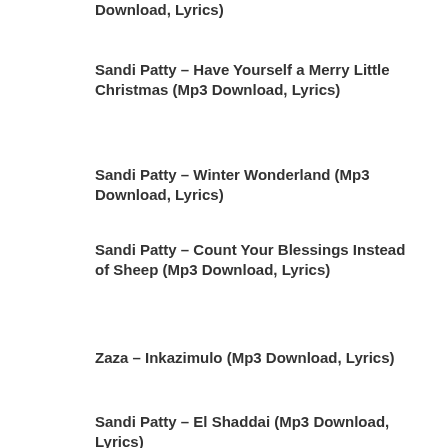Download, Lyrics)
Sandi Patty – Have Yourself a Merry Little Christmas (Mp3 Download, Lyrics)
Sandi Patty – Winter Wonderland (Mp3 Download, Lyrics)
Sandi Patty – Count Your Blessings Instead of Sheep (Mp3 Download, Lyrics)
Zaza – Inkazimulo (Mp3 Download, Lyrics)
Sandi Patty – El Shaddai (Mp3 Download, Lyrics)